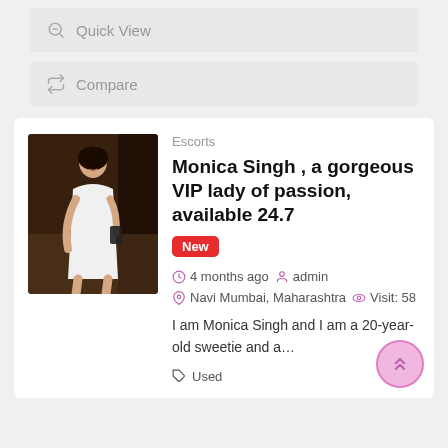Quick View
Compare
Escorts
Monica Singh , a gorgeous VIP lady of passion, available 24.7
New
4 months ago  admin  Navi Mumbai, Maharashtra  Visit: 58
I am Monica Singh and I am a 20-year-old sweetie and a…
Used